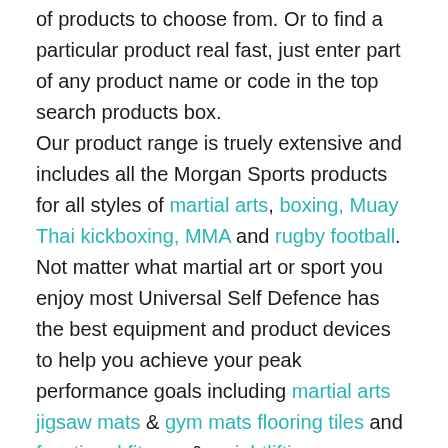of products to choose from. Or to find a particular product real fast, just enter part of any product name or code in the top search products box. Our product range is truely extensive and includes all the Morgan Sports products for all styles of martial arts, boxing, Muay Thai kickboxing, MMA and rugby football. Not matter what martial art or sport you enjoy most Universal Self Defence has the best equipment and product devices to help you achieve your peak performance goals including martial arts jigsaw mats & gym mats flooring tiles and functional fitness & weightlifting equipment.
KEEP SAFE, GET FIT & FEEL EMPOWERED!
Enjoy the most empowering Universal Self Defence martial arts training, with the best MMA mixed martial arts techniques and great discount martial arts supplies